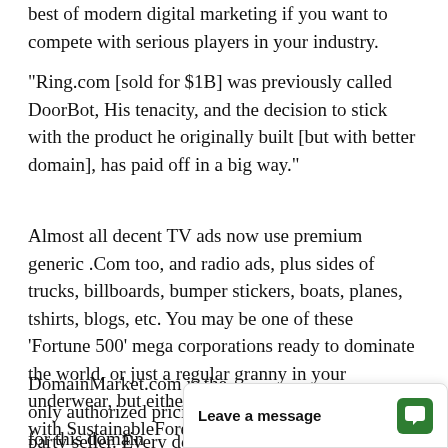best of modern digital marketing if you want to compete with serious players in your industry.
"Ring.com [sold for $1B] was previously called DoorBot, His tenacity, and the decision to stick with the product he originally built [but with better domain], has paid off in a big way."
Almost all decent TV ads now use premium generic .Com too, and radio ads, plus sides of trucks, billboards, bumper stickers, boats, planes, tshirts, blogs, etc. You may be one of these 'Fortune 500' mega corporations ready to dominate the world, or just a regular granny in your underwear, but either way you can look the same with SustainableForests.org.
DomainMarket.com is the only authorized pricing agent for this domain... party seller. Every do...
[Figure (other): Chat widget overlay with 'Leave a message' label and chat bubble icon in green]